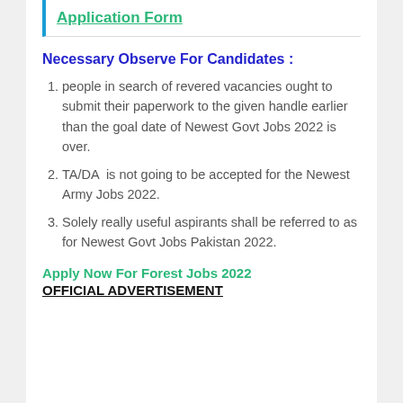Application Form
Necessary Observe For Candidates :
people in search of revered vacancies ought to submit their paperwork to the given handle earlier than the goal date of Newest Govt Jobs 2022 is over.
TA/DA  is not going to be accepted for the Newest Army Jobs 2022.
Solely really useful aspirants shall be referred to as for Newest Govt Jobs Pakistan 2022.
Apply Now For Forest Jobs 2022
OFFICIAL ADVERTISEMENT